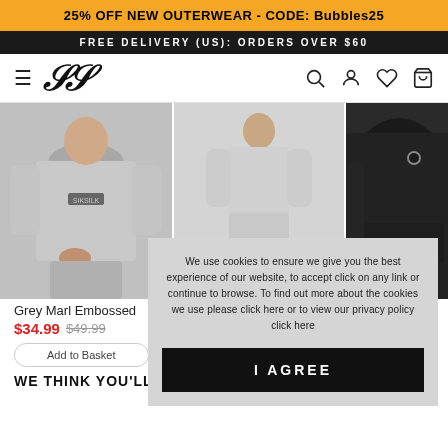25% OFF NEW OUTERWEAR - CODE: Bubbles25
FREE DELIVERY (US): ORDERS OVER $60
[Figure (screenshot): Navigation bar with hamburger menu, SikSilk logo, search, account, wishlist, and cart icons]
[Figure (photo): Three product photos: Grey Marl Embossed sweatshirt (front), full body shot of grey tracksuit, and black hoodie partial view]
Grey Marl Embossed
$34.99 $49.99
We use cookies to ensure we give you the best experience of our website, to accept click on any link or continue to browse. To find out more about the cookies we use please click here or to view our privacy policy click here
I AGREE
WE THINK YOU'LL LOVE